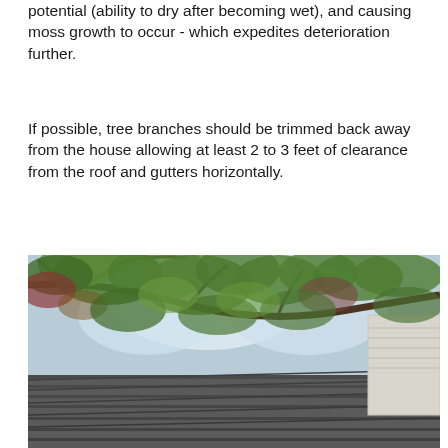potential (ability to dry after becoming wet), and causing moss growth to occur - which expedites deterioration further.
If possible, tree branches should be trimmed back away from the house allowing at least 2 to 3 feet of clearance from the roof and gutters horizontally.
[Figure (photo): Photograph taken looking upward from a roof showing tree branches with green and reddish leaves overhanging a dark asphalt shingle roof, with a white or light-colored house wall visible in the upper right background.]